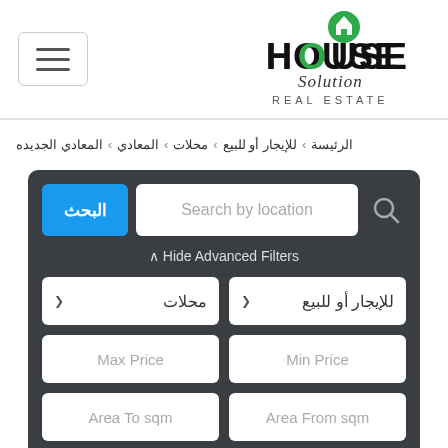[Figure (logo): House Solution Real Estate logo with green house icon]
الرئيسية > للإيجار أو للبيع > محلات > المعادي > المعادي الجديده
البحث | Search by location
Hide Advanced Filters
للإيجار أو للبيع | محلات
Max Price | Min Price
Area To sqm | Area From sqm